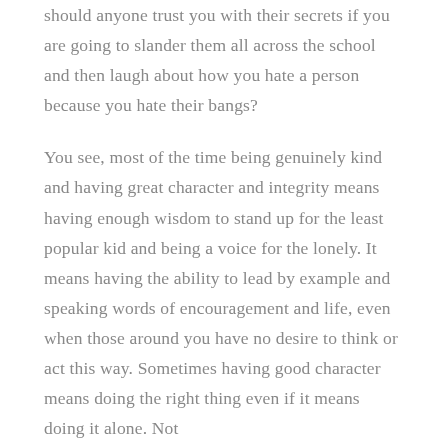should anyone trust you with their secrets if you are going to slander them all across the school and then laugh about how you hate a person because you hate their bangs?
You see, most of the time being genuinely kind and having great character and integrity means having enough wisdom to stand up for the least popular kid and being a voice for the lonely. It means having the ability to lead by example and speaking words of encouragement and life, even when those around you have no desire to think or act this way. Sometimes having good character means doing the right thing even if it means doing it alone. Not